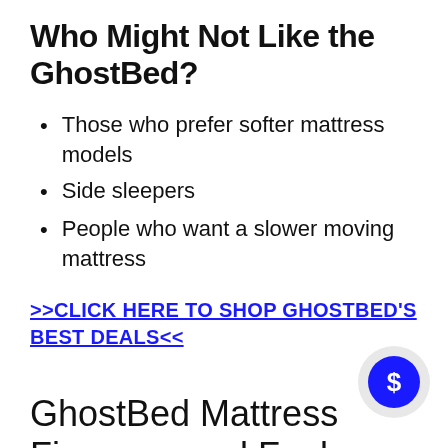Who Might Not Like the GhostBed?
Those who prefer softer mattress models
Side sleepers
People who want a slower moving mattress
>>CLICK HERE TO SHOP GHOSTBED'S BEST DEALS<<
GhostBed Mattress Firmness and Feel